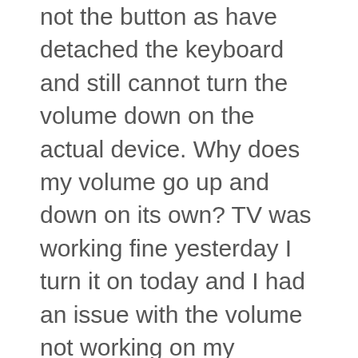not the button as have detached the keyboard and still cannot turn the volume down on the actual device. Why does my volume go up and down on its own? TV was working fine yesterday I turn it on today and I had an issue with the volume not working on my Samsung remote nor on my Directv remote. Check Your Volume Levels. I've tried turning everything off and restarting and that didn't help. A display on screen should show if the TV is now muted, or not. Be among the first to get the latest - Answered by a verified TV Technician. Follow the steps below to troubleshoot if the TV volume cannot be adjusted. My remote is functioning correctly (changes channels, brings up the guide, etc) but when I turn on my TV the volume bar pops up and it is stuck on high. If this is the case, use the audio receiver remote control to adjust the volume through the audio system. ©2020 AT&T Intellectual Property. It is as if the volume-up buttom is stuck on. If I lower the volume, it automatically goes back to 100%. We recommend downloading and installing the